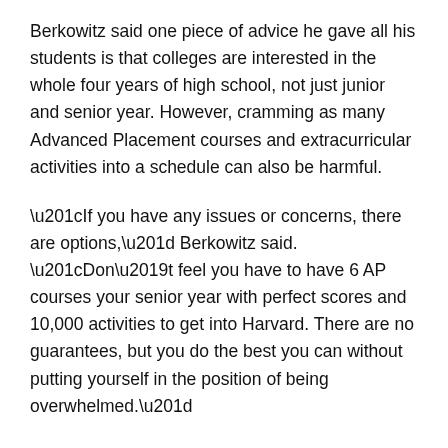Berkowitz said one piece of advice he gave all his students is that colleges are interested in the whole four years of high school, not just junior and senior year. However, cramming as many Advanced Placement courses and extracurricular activities into a schedule can also be harmful.
“If you have any issues or concerns, there are options,” Berkowitz said. “Don’t feel you have to have 6 AP courses your senior year with perfect scores and 10,000 activities to get into Harvard. There are no guarantees, but you do the best you can without putting yourself in the position of being overwhelmed.”
Reich said she works with students to plan out all of high school, including courses, clubs, community service, leadership positions and summer programs, so students can show a well-rounded résumé to prospective colleges.